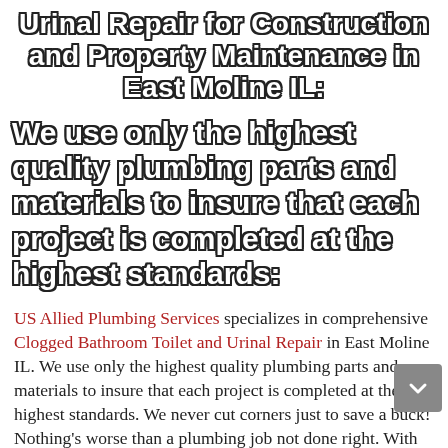Urinal Repair for Construction and Property Maintenance in East Moline IL:
We use only the highest quality plumbing parts and materials to insure that each project is completed at the highest standards:
US Allied Plumbing Services specializes in comprehensive Clogged Bathroom Toilet and Urinal Repair in East Moline IL. We use only the highest quality plumbing parts and materials to insure that each project is completed at the highest standards. We never cut corners just to save a buck! Nothing's worse than a plumbing job not done right. With repairs, US Allied...